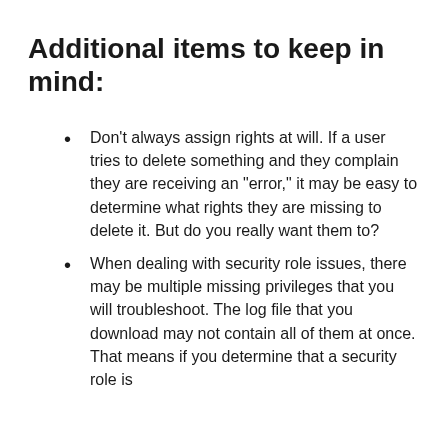Additional items to keep in mind:
Don't always assign rights at will. If a user tries to delete something and they complain they are receiving an "error," it may be easy to determine what rights they are missing to delete it. But do you really want them to?
When dealing with security role issues, there may be multiple missing privileges that you will troubleshoot. The log file that you download may not contain all of them at once. That means if you determine that a security role is